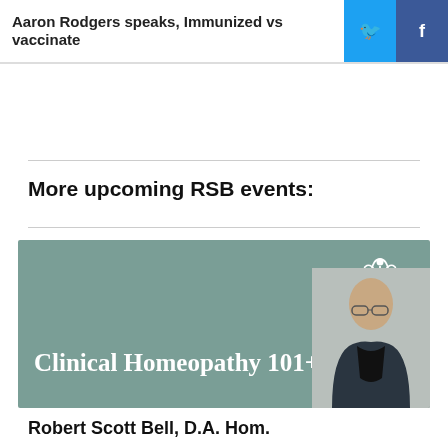Aaron Rodgers speaks, Immunized vs vaccinate
More upcoming RSB events:
[Figure (illustration): Promotional banner for 'Clinical Homeopathy 101+' course with green/teal background, Trinity School of Natural Health logo in top right, and a photo of Robert Scott Bell on the right side]
Robert Scott Bell, D.A. Hom.